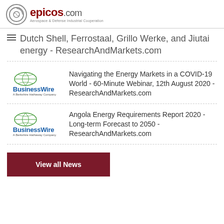[Figure (logo): epicos.com logo with circular icon and tagline Aerospace & Defense Industrial Cooperation]
Dutch Shell, Ferrostaal, Grillo Werke, and Jiutai energy - ResearchAndMarkets.com
[Figure (logo): Business Wire - A Berkshire Hathaway Company logo]
Navigating the Energy Markets in a COVID-19 World - 60-Minute Webinar, 12th August 2020 - ResearchAndMarkets.com
[Figure (logo): Business Wire - A Berkshire Hathaway Company logo]
Angola Energy Requirements Report 2020 - Long-term Forecast to 2050 - ResearchAndMarkets.com
View all News